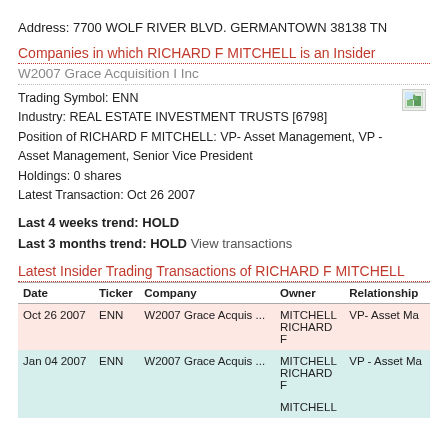Address: 7700 WOLF RIVER BLVD. GERMANTOWN 38138 TN
Companies in which RICHARD F MITCHELL is an Insider
W2007 Grace Acquisition I Inc
Trading Symbol: ENN
Industry: REAL ESTATE INVESTMENT TRUSTS [6798]
Position of RICHARD F MITCHELL: VP- Asset Management, VP - Asset Management, Senior Vice President
Holdings: 0 shares
Latest Transaction: Oct 26 2007
Last 4 weeks trend: HOLD
Last 3 months trend: HOLD View transactions
Latest Insider Trading Transactions of RICHARD F MITCHELL
| Date | Ticker | Company | Owner | Relationship |
| --- | --- | --- | --- | --- |
| Oct 26 2007 | ENN | W2007 Grace Acquis ... | MITCHELL RICHARD F | VP- Asset Ma |
| Jan 04 2007 | ENN | W2007 Grace Acquis ... | MITCHELL RICHARD F | VP - Asset Ma |
|  |  |  | MITCHELL |  |